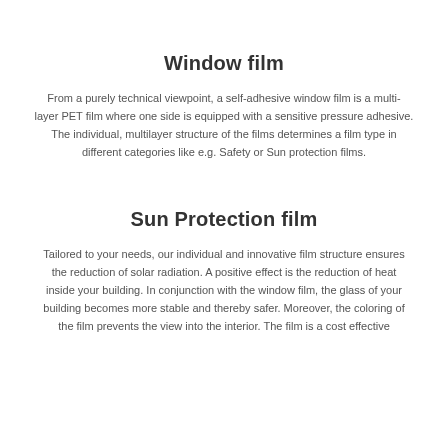Window film
From a purely technical viewpoint, a self-adhesive window film is a multi-layer PET film where one side is equipped with a sensitive pressure adhesive. The individual, multilayer structure of the films determines a film type in different categories like e.g. Safety or Sun protection films.
Sun Protection film
Tailored to your needs, our individual and innovative film structure ensures the reduction of solar radiation. A positive effect is the reduction of heat inside your building. In conjunction with the window film, the glass of your building becomes more stable and thereby safer. Moreover, the coloring of the film prevents the view into the interior. The film is a cost effective